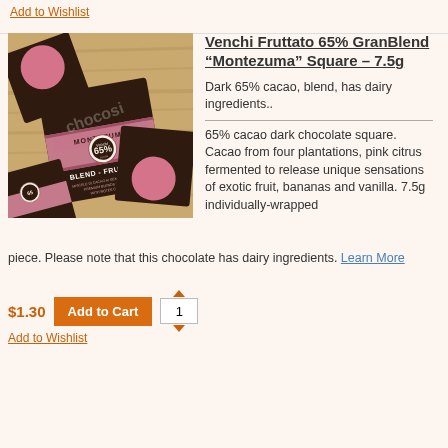Add to Wishlist
[Figure (photo): Photo of Venchi Fruttato 65% GranBlend Montezuma chocolate squares with pink cocoa butter circles on dark chocolate, wrapped in pink Montezuma branded packaging, arranged on a wooden surface]
Venchi Fruttato 65% GranBlend “Montezuma” Square – 7.5g
Dark 65% cacao, blend, has dairy ingredients..
65% cacao dark chocolate square. Cacao from four plantations, pink citrus fermented to release unique sensations of exotic fruit, bananas and vanilla. 7.5g individually-wrapped piece. Please note that this chocolate has dairy ingredients. Learn More
$1.30
Add to Cart
Add to Wishlist